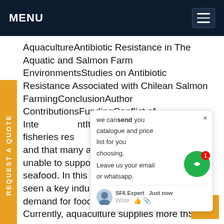MENU
AquacultureAntibiotic Resistance in The Aquatic and Salmon Farm EnvironmentsStudies on Antibiotic Resistance Associated with Chilean Salmon FarmingConclusionAuthor ContributionsFundingConflict of InterestIt is well known that many fisheries resources have been overexploited, and that many are currently depleted, and unable to support the global demand for seafood. In this context, world aquaculture seen a key industry in satisfying the growing demand for food for human consumption. Currently, aquaculture supplies more thSee more on frontiersin.orgPagination12345NextSee all images2f21b8ed-9bf9-8ba3-69e6-4448f88b4fc0Sulfur hexafluorideSulfur hexafluoride (SF₆) or sulphur hexafluoride (British spelling) is an
[Figure (screenshot): Chat popup overlay with text 'we can send you catalogue and price list for you choosing. Leave us your email or whatsapp.' with a chat input area showing SF6 Expert avatar and Write/like/attach icons, plus a green circle notification icon with badge '1'.]